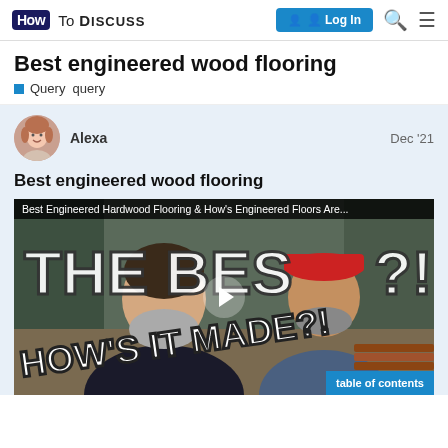How To Discuss — Log In
Best engineered wood flooring
Query  query
Alexa  Dec '21
Best engineered wood flooring
[Figure (screenshot): YouTube video thumbnail titled 'Best Engineered Hardwood Flooring & How's Engineered Floors Are...' showing two men seated at a table with large bold text 'THE BEST?!' and 'HOW'S IT MADE?!' overlaid. A play button is visible in the center and a 'table of contents' button appears in the bottom right.]